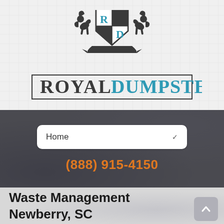[Figure (logo): Royal Dumpster logo with heraldic shield flanked by two rampant lions and a crown on top, with 'R' and 'D' in teal on the shield. Below the crest is a rectangular border containing 'ROYAL' in dark gray serif and 'DUMPSTER' in teal serif letters.]
Home
(888) 915-4150
Waste Management Newberry, SC